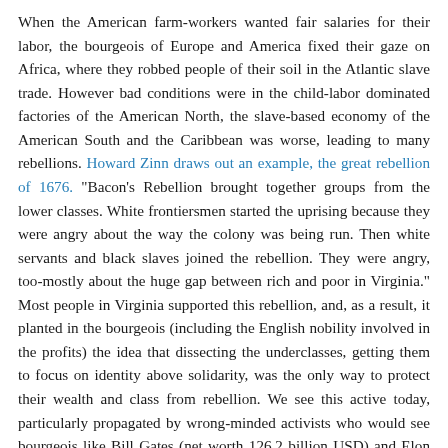When the American farm-workers wanted fair salaries for their labor, the bourgeois of Europe and America fixed their gaze on Africa, where they robbed people of their soil in the Atlantic slave trade. However bad conditions were in the child-labor dominated factories of the American North, the slave-based economy of the American South and the Caribbean was worse, leading to many rebellions. Howard Zinn draws out an example, the great rebellion of 1676. "Bacon's Rebellion brought together groups from the lower classes. White frontiersmen started the uprising because they were angry about the way the colony was being run. Then white servants and black slaves joined the rebellion. They were angry, too-mostly about the huge gap between rich and poor in Virginia." Most people in Virginia supported this rebellion, and, as a result, it planted in the bourgeois (including the English nobility involved in the profits) the idea that dissecting the underclasses, getting them to focus on identity above solidarity, was the only way to protect their wealth and class from rebellion. We see this active today, particularly propagated by wrong-minded activists who would see bourgeois like Bill Gates (net worth 126.2 billion USD) and Elon Musk (net worth 157.4 billion USD), or even Donald Trump (net worth 2.5 billion USD) as on their side before the uneducated masses.